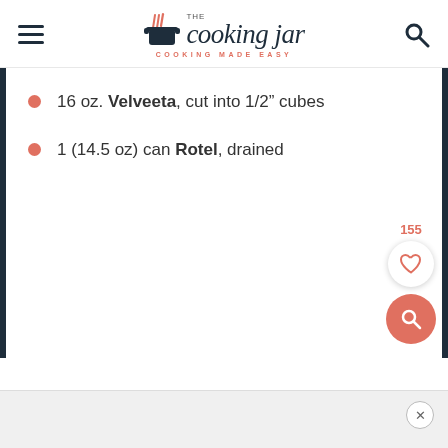The Cooking Jar — COOKING MADE EASY
16 oz. Velveeta, cut into 1/2" cubes
1 (14.5 oz) can Rotel, drained